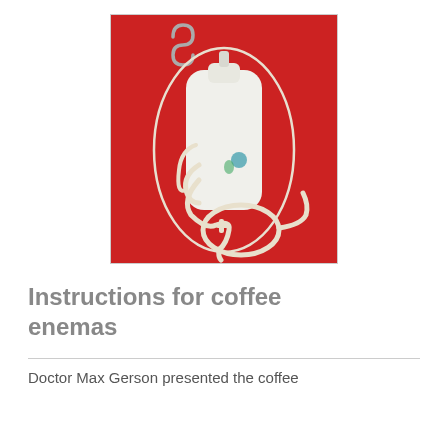[Figure (photo): Photograph of a white plastic enema bag with tubing and an S-hook, displayed against a red background. The bag is oval-shaped with clear silicone tubing coiled at the bottom.]
Instructions for coffee enemas
Doctor Max Gerson presented the coffee